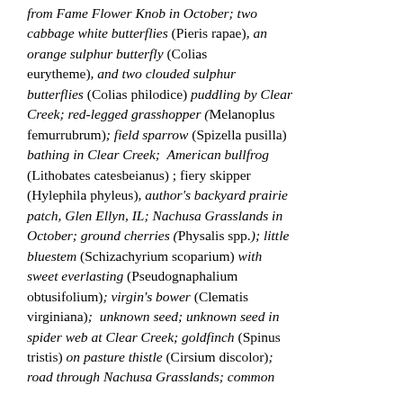from Fame Flower Knob in October; two cabbage white butterflies (Pieris rapae), an orange sulphur butterfly (Colias eurytheme), and two clouded sulphur butterflies (Colias philodice) puddling by Clear Creek; red-legged grasshopper (Melanoplus femurrubrum); field sparrow (Spizella pusilla) bathing in Clear Creek;  American bullfrog (Lithobates catesbeianus) ; fiery skipper (Hylephila phyleus), author's backyard prairie patch, Glen Ellyn, IL; Nachusa Grasslands in October; ground cherries (Physalis spp.); little bluestem (Schizachyrium scoparium) with sweet everlasting (Pseudognaphalium obtusifolium); virgin's bower (Clematis virginiana);  unknown seed; unknown seed in spider web at Clear Creek; goldfinch (Spinus tristis) on pasture thistle (Cirsium discolor); road through Nachusa Grasslands; common